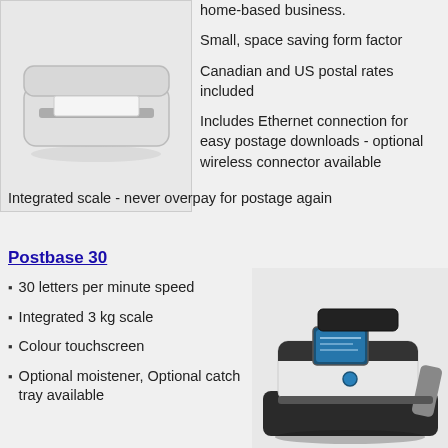[Figure (photo): White desktop postage meter / franking machine, top view, showing a slot for envelopes]
home-based business.
Small, space saving form factor
Canadian and US postal rates included
Includes Ethernet connection for easy postage downloads - optional wireless connector available
Integrated scale - never overpay for postage again
Postbase 30
30 letters per minute speed
Integrated 3 kg scale
Colour touchscreen
Optional moistener, Optional catch tray available
[Figure (photo): Postbase 30 postage meter machine, black and white design with colour touchscreen display and integrated scale platform on top]